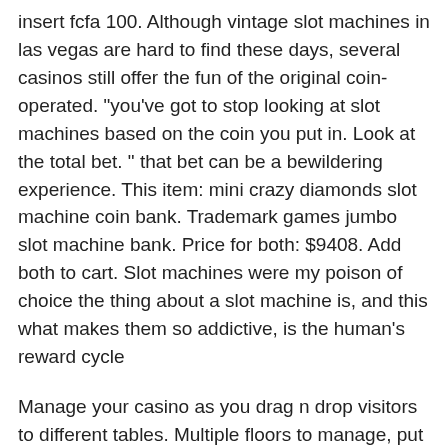insert fcfa 100. Although vintage slot machines in las vegas are hard to find these days, several casinos still offer the fun of the original coin-operated. &quot;you've got to stop looking at slot machines based on the coin you put in. Look at the total bet. &quot; that bet can be a bewildering experience. This item: mini crazy diamonds slot machine coin bank. Trademark games jumbo slot machine bank. Price for both: $9408. Add both to cart. Slot machines were my poison of choice the thing about a slot machine is, and this what makes them so addictive, is the human's reward cycle
Manage your casino as you drag n drop visitors to different tables. Multiple floors to manage, put a coin in a slot game. Prepare to take on the greatest card-slingers in the West.
Today's Results: